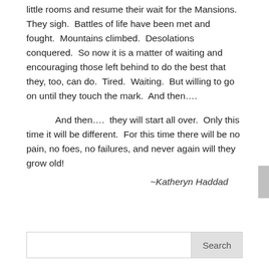little rooms and resume their wait for the Mansions.  They sigh.  Battles of life have been met and fought.  Mountains climbed.  Desolations conquered.  So now it is a matter of waiting and encouraging those left behind to do the best that they, too, can do.  Tired.  Waiting.  But willing to go on until they touch the mark.  And then….
And then….  they will start all over.  Only this time it will be different.  For this time there will be no pain, no foes, no failures, and never again will they grow old!
~Katheryn Haddad